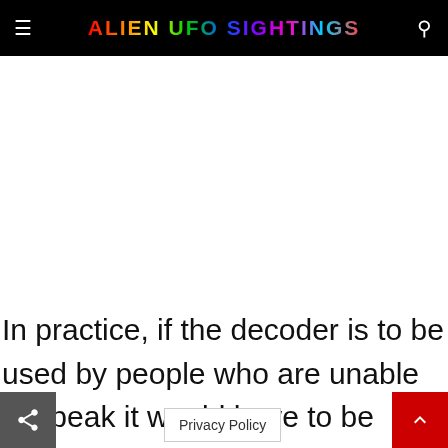ALIEN UFO SIGHTINGS
[Figure (other): White advertisement/blank area below header]
In practice, if the decoder is to be used by people who are unable to speak it would have to be trained on wh ar rath